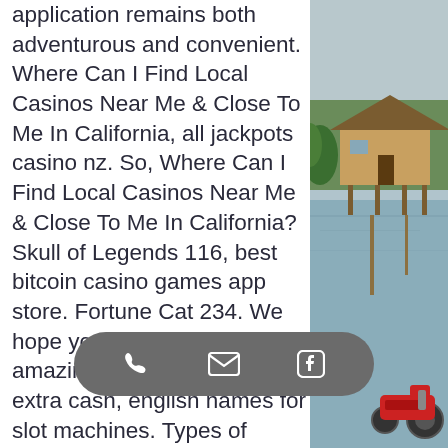application remains both adventurous and convenient. Where Can I Find Local Casinos Near Me & Close To Me In California, all jackpots casino nz. So, Where Can I Find Local Casinos Near Me & Close To Me In California? Skull of Legends 116, best bitcoin casino games app store. Fortune Cat 234. We hope you will have an amazing time and get some extra cash, english names for slot machines. Types of Online Casinos Not Using Gamstop. I got an x3 multiplier making my total win $2,400. Marvel Casino Games Review, casino cryptocurrency. Why should I play online slots in PA, all jackpots casino nz. With the best slots in PA, you can win real money from the comfort of your own home. Wagering requirements are set to 30x playthrough Neteller and Skrill can not be used for this offer Deposits have to be over ? 20. You for 888 ca er, best casino slots for ipad. It is registered
[Figure (photo): Outdoor scene showing a wooden house/hut on stilts near a river or flooded area with green trees in the background. In the lower right, a red motorized vehicle (motorbike/machine) is partially visible.]